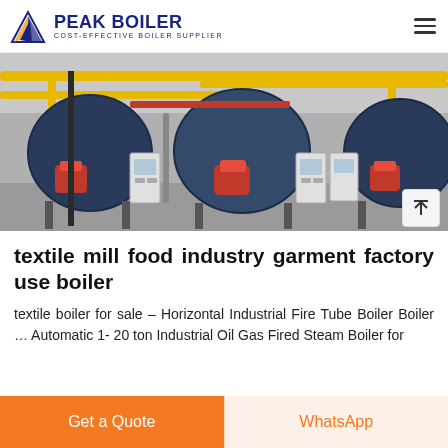PEAK BOILER — COST-EFFECTIVE BOILER SUPPLIER
[Figure (photo): Industrial boiler room with three large horizontal fire tube boilers in dark blue/grey, mounted on stands with red burners and yellow pipework above. Control panels visible between units. Concrete floor.]
textile mill food industry garment factory use boiler
textile boiler for sale – Horizontal Industrial Fire Tube Boiler Boiler … Automatic 1- 20 ton Industrial Oil Gas Fired Steam Boiler for
Get a Quote | WhatsApp